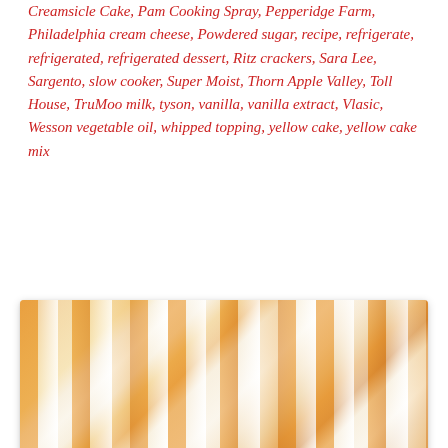Creamsicle Cake, Pam Cooking Spray, Pepperidge Farm, Philadelphia cream cheese, Powdered sugar, recipe, refrigerate, refrigerated, refrigerated dessert, Ritz crackers, Sara Lee, Sargento, slow cooker, Super Moist, Thorn Apple Valley, Toll House, TruMoo milk, tyson, vanilla, vanilla extract, Vlasic, Wesson vegetable oil, whipped topping, yellow cake, yellow cake mix
[Figure (photo): Close-up photograph of layered creamsicle cake slices showing alternating orange and white/cream layers with crumb topping visible on the sides.]
You don't have to put together